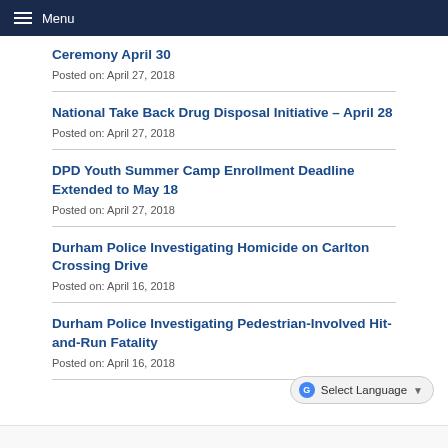Menu
Ceremony April 30
Posted on: April 27, 2018
National Take Back Drug Disposal Initiative – April 28
Posted on: April 27, 2018
DPD Youth Summer Camp Enrollment Deadline Extended to May 18
Posted on: April 27, 2018
Durham Police Investigating Homicide on Carlton Crossing Drive
Posted on: April 16, 2018
Durham Police Investigating Pedestrian-Involved Hit-and-Run Fatality
Posted on: April 16, 2018